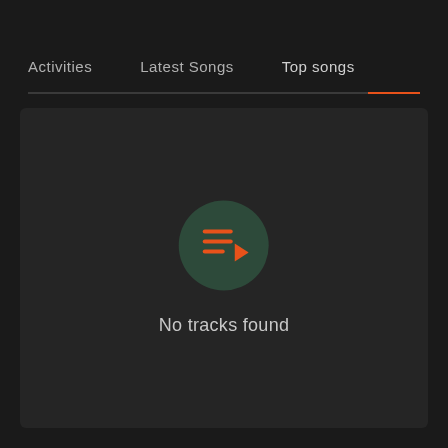Activities  Latest Songs  Top songs
[Figure (screenshot): Empty state screen showing a dark rounded rectangle content area with a green circle icon containing orange playlist/queue icon with play arrow, and text 'No tracks found' below it]
No tracks found